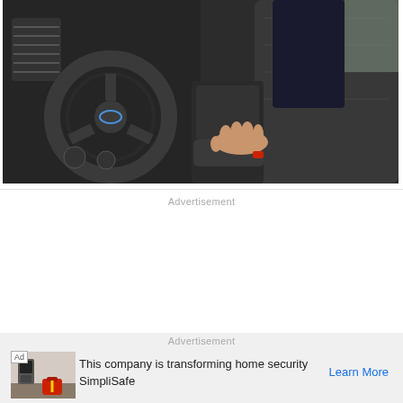[Figure (photo): Car interior photo showing a Ford vehicle dashboard with steering wheel on the left, center console, and a person's hand resting on the armrest/seat area. Dark interior with black trim.]
Advertisement
Advertisement
[Figure (infographic): Advertisement unit: Ad badge, thumbnail image of home security equipment, headline 'This company is transforming home security', brand name 'SimpliSafe', and 'Learn More' call-to-action link in blue.]